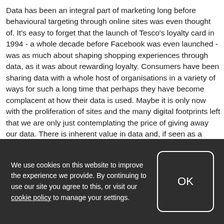Data has been an integral part of marketing long before behavioural targeting through online sites was even thought of. It's easy to forget that the launch of Tesco's loyalty card in 1994 - a whole decade before Facebook was even launched - was as much about shaping shopping experiences through data, as it was about rewarding loyalty. Consumers have been sharing data with a whole host of organisations in a variety of ways for such a long time that perhaps they have become complacent at how their data is used. Maybe it is only now with the proliferation of sites and the many digital footprints left that we are only just contemplating the price of giving away our data. There is inherent value in data and, if seen as a value exchange, there are real benefits for all.
We use cookies on this website to improve the experience we provide. By continuing to use our site you agree to this, or visit our cookie policy to manage your settings.